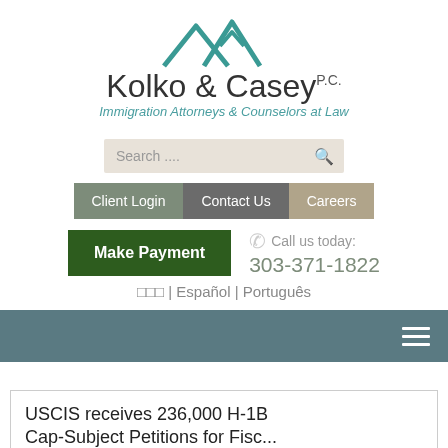[Figure (logo): Kolko & Casey P.C. law firm logo with mountain/house icon in teal above firm name, tagline: Immigration Attorneys & Counselors at Law]
Search ....
Client Login | Contact Us | Careers
Make Payment
Call us today: 303-371-1822
□□□ | Español | Português
USCIS receives 236,000 H-1B Cap-Subject Petitions for Fiscal...